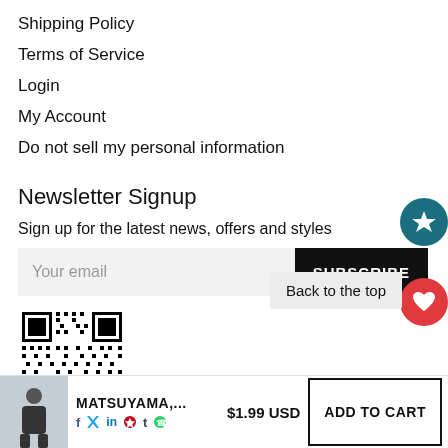Shipping Policy
Terms of Service
Login
My Account
Do not sell my personal information
Newsletter Signup
Sign up for the latest news, offers and styles
[Figure (other): Email input field with placeholder 'Your email' and SUBSCRIBE button]
[Figure (other): QR code image]
[Figure (other): Product bottom bar with thumbnail, MATSUYAMA,..., social icons, $1.99 USD price, ADD TO CART button]